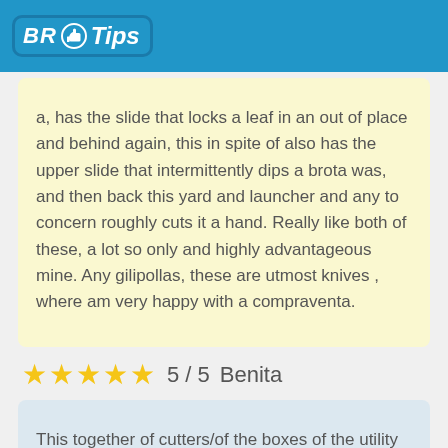BR Tips
a, has the slide that locks a leaf in an out of place and behind again, this in spite of also has the upper slide that intermittently dips a brota was, and then back this yard and launcher and any to concern roughly cuts it a hand. Really like both of these, a lot so only and highly advantageous mine. Any gilipollas, these are utmost knives , where am very happy with a compraventa.
★★★★★ 5 / 5  Benita
This together of cutters/of the boxes of the utility is economic and the law adds. Utmost colors